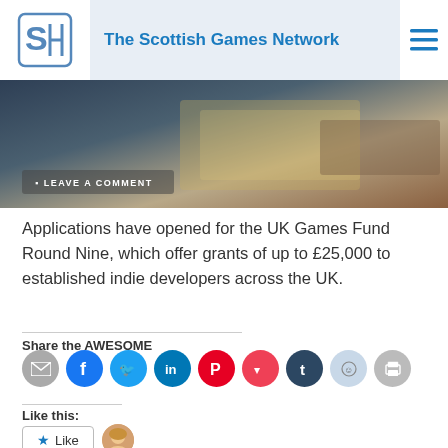The Scottish Games Network
[Figure (photo): A hand holding banknotes/money, dark background. 'LEAVE A COMMENT' button overlay at bottom left.]
Applications have opened for the UK Games Fund Round Nine, which offer grants of up to £25,000 to established indie developers across the UK.
Share the AWESOME
[Figure (infographic): Social sharing icons: email, Facebook, Twitter, LinkedIn, Pinterest, Pocket, Tumblr, Reddit, Print]
Like this:
[Figure (infographic): Like button with star icon and a blogger avatar thumbnail]
One blogger likes this.